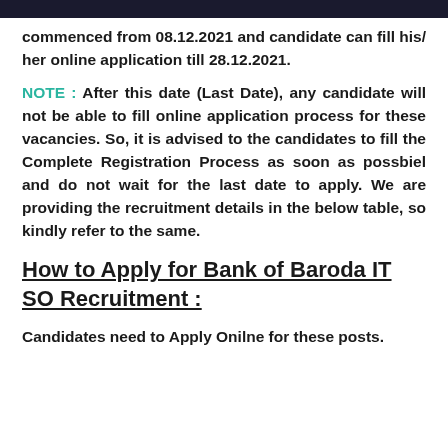commenced from 08.12.2021 and candidate can fill his/ her online application till 28.12.2021.
NOTE : After this date (Last Date), any candidate will not be able to fill online application process for these vacancies. So, it is advised to the candidates to fill the Complete Registration Process as soon as possbiel and do not wait for the last date to apply. We are providing the recruitment details in the below table, so kindly refer to the same.
How to Apply for Bank of Baroda IT SO Recruitment :
Candidates need to Apply Onilne for these posts.